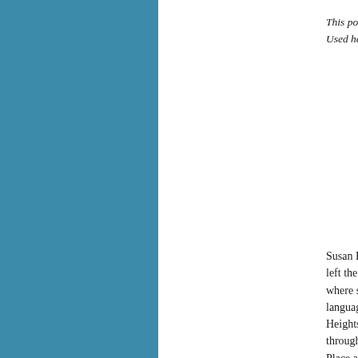[Figure (other): Solid teal/blue rectangular panel occupying the left portion of the page]
This poem first ap
Used here with the
Susan B. Auld began
left the beaches for th
where she renewed h
language pathologist
Heights, Illinois, whe
through her Lotus Flo
Place at the commun
renewal and inspirati